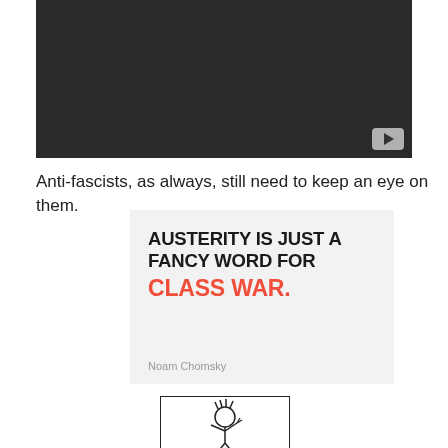[Figure (screenshot): Dark video player thumbnail with YouTube play button in bottom-right corner]
Anti-fascists, as always, still need to keep an eye on them.
[Figure (infographic): Quote card with light gray background. Text reads: AUSTERITY IS JUST A FANCY WORD FOR CLASS WAR. — Noam Chomsky. The first two lines are in dark bold text, 'CLASS WAR.' is in red bold text, attribution in gray.]
[Figure (illustration): Partially visible illustration in a white bordered box showing a cartoon figure with spiky hair making a gesture]